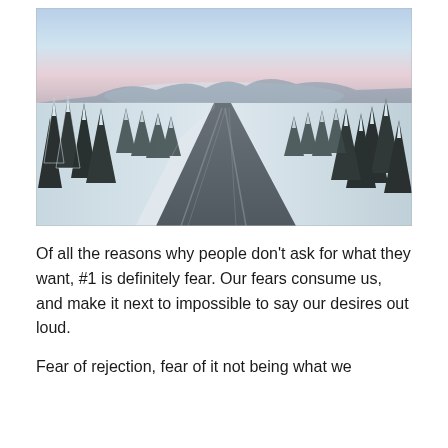[Figure (photo): A winter landscape photograph showing a long straight icy road receding into the distance, flanked by snow-covered evergreen trees on both sides, with snow banks along the road edges and a pale blue and pink sky at the horizon.]
Of all the reasons why people don't ask for what they want, #1 is definitely fear. Our fears consume us, and make it next to impossible to say our desires out loud.
Fear of rejection, fear of it not being what we